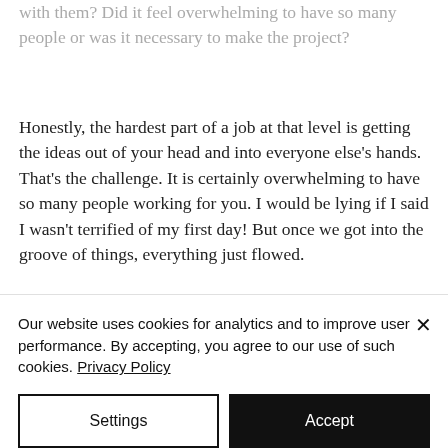with them?  Did it feel overwhelming to have so many people or was it necessary to make the project?
Honestly, the hardest part of a job at that level is getting the ideas out of your head and into everyone else's hands.  That's the challenge.  It is certainly overwhelming to have so many people working for you. I would be lying if I said I wasn't terrified of my first day! But once we got into the groove of things, everything just flowed.
Our website uses cookies for analytics and to improve user performance. By accepting, you agree to our use of such cookies. Privacy Policy
Settings
Accept